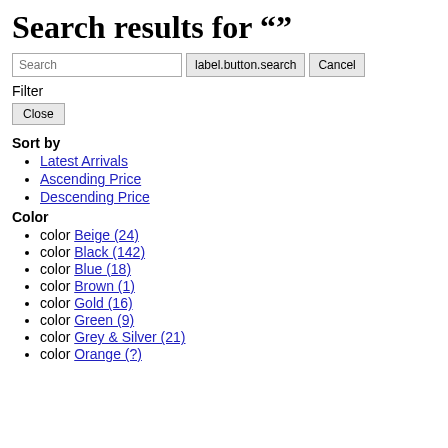Search results for ""
Search  label.button.search  Cancel
Filter
Close
Sort by
Latest Arrivals
Ascending Price
Descending Price
Color
color Beige (24)
color Black (142)
color Blue (18)
color Brown (1)
color Gold (16)
color Green (9)
color Grey & Silver (21)
color Orange (?)